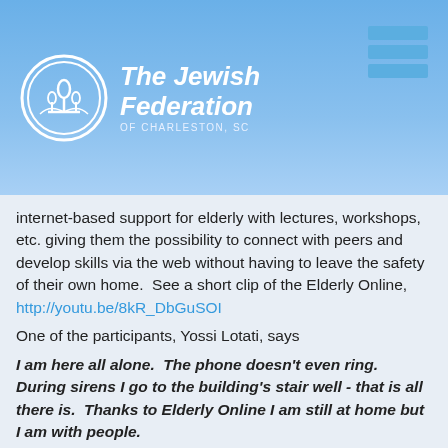The Jewish Federation OF CHARLESTON, SC
internet-based support for elderly with lectures, workshops, etc. giving them the possibility to connect with peers and develop skills via the web without having to leave the safety of their own home.  See a short clip of the Elderly Online, http://youtu.be/8kR_DbGuSOI
One of the participants, Yossi Lotati, says
I am here all alone.  The phone doesn't even ring. During sirens I go to the building's stair well - that is all there is.  Thanks to Elderly Online I am still at home but I am with people.
Program director Anat Shuster checks in on Yossi asking him how he is doing with all the sirens in Ashdod. She says about the program:
Everybody sees each other and hears each other - exactly like a